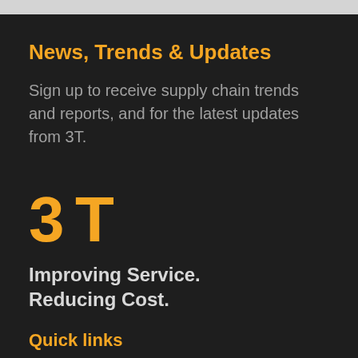News, Trends & Updates
Sign up to receive supply chain trends and reports, and for the latest updates from 3T.
[Figure (logo): 3T logo — orange stylized '3T' characters]
Improving Service.
Reducing Cost.
Quick links